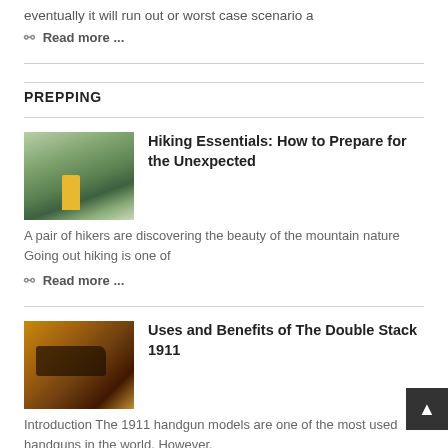eventually it will run out or worst case scenario a
Read more ...
PREPPING
[Figure (photo): A hiker with a yellow backpack viewed from behind, standing in a mountain landscape with green hills and cloudy sky]
Hiking Essentials: How to Prepare for the Unexpected
A pair of hikers are discovering the beauty of the mountain nature Going out hiking is one of
Read more ...
[Figure (photo): A handgun photographed against a warm orange/amber background]
Uses and Benefits of The Double Stack 1911
Introduction The 1911 handgun models are one of the most used handguns in the world. However,
Read more ...
[Figure (photo): Landscape thumbnail, partially visible]
Tips for Fueling Your Next